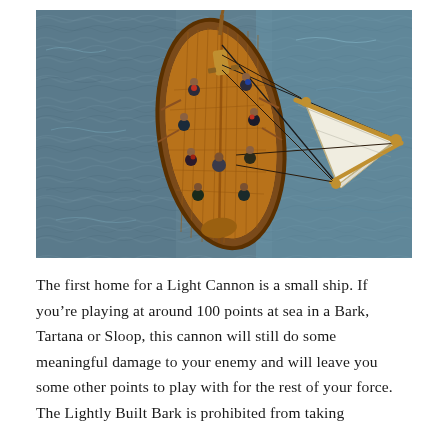[Figure (photo): Aerial/top-down view of a detailed wooden model ship on a blue-grey water surface. The ship has a wooden deck with miniature crew figures, masts, sails, and rigging. The vessel appears to be a small historical sailing ship viewed from directly above.]
The first home for a Light Cannon is a small ship. If you're playing at around 100 points at sea in a Bark, Tartana or Sloop, this cannon will still do some meaningful damage to your enemy and will leave you some other points to play with for the rest of your force. The Lightly Built Bark is prohibited from taking